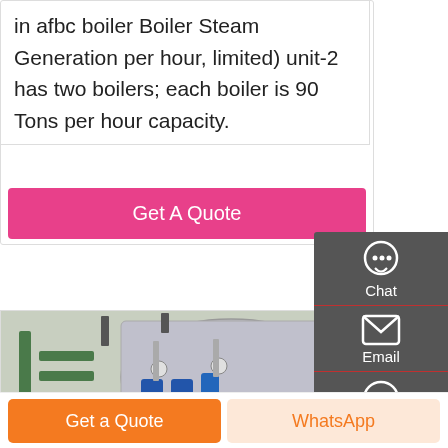in afbc boiler Boiler Steam Generation per hour, limited) unit-2 has two boilers; each boiler is 90 Tons per hour capacity.
Get A Quote
[Figure (photo): Industrial boiler room showing a large cylindrical stainless-steel steam boiler with green pipes, blue pumps, valves, and pressure gauges mounted on the front. The equipment is installed in an industrial facility.]
Chat
Email
Contact
Get a Quote
WhatsApp